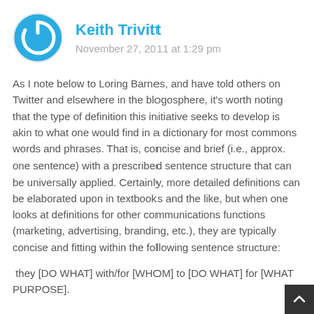[Figure (logo): Circular avatar icon with a power/reload symbol in blue and white]
Keith Trivitt
November 27, 2011 at 1:29 pm
As I note below to Loring Barnes, and have told others on Twitter and elsewhere in the blogosphere, it’s worth noting that the type of definition this initiative seeks to develop is akin to what one would find in a dictionary for most commons words and phrases. That is, concise and brief (i.e., approx. one sentence) with a prescribed sentence structure that can be universally applied. Certainly, more detailed definitions can be elaborated upon in textbooks and the like, but when one looks at definitions for other communications functions (marketing, advertising, branding, etc.), they are typically concise and fitting within the following sentence structure:
they [DO WHAT] with/for [WHOM] to [DO WHAT] for [WHAT PURPOSE].